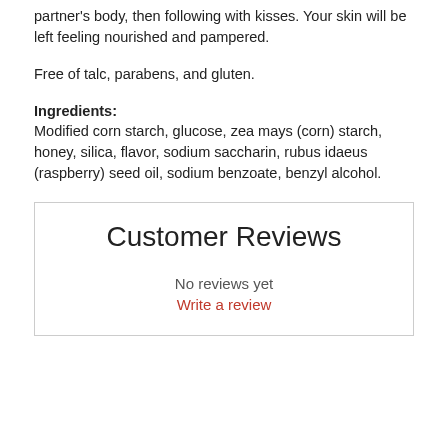partner's body, then following with kisses. Your skin will be left feeling nourished and pampered.
Free of talc, parabens, and gluten.
Ingredients:
Modified corn starch, glucose, zea mays (corn) starch, honey, silica, flavor, sodium saccharin, rubus idaeus (raspberry) seed oil, sodium benzoate, benzyl alcohol.
Customer Reviews
No reviews yet
Write a review